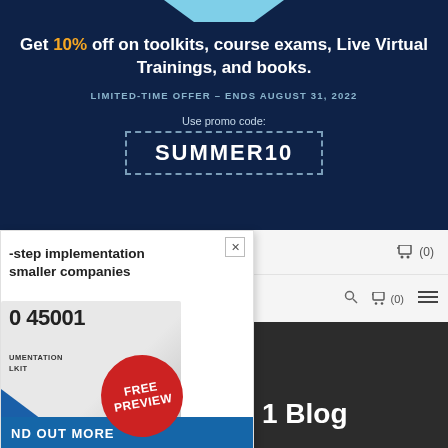Get 10% off on toolkits, course exams, Live Virtual Trainings, and books.
LIMITED-TIME OFFER – ENDS AUGUST 31, 2022
Use promo code:
SUMMER10
-step implementation smaller companies
[Figure (photo): ISO 45001 Documentation Toolkit book with curled page and blue triangle, with red FREE PREVIEW badge]
0 45001 UMENTATION LKIT
FREE PREVIEW
ND OUT MORE
🛒 (0)
🔍 🛒 (0) ≡
1 Blog